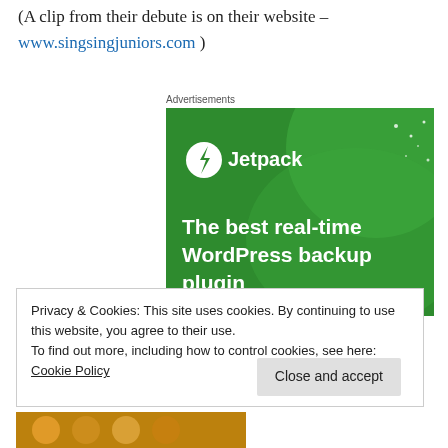(A clip from their debute is on their website – www.singsingjuniors.com )
Advertisements
[Figure (screenshot): Jetpack advertisement banner on a green background showing the Jetpack logo (lightning bolt icon) and the text 'The best real-time WordPress backup plugin']
Privacy & Cookies: This site uses cookies. By continuing to use this website, you agree to their use.
To find out more, including how to control cookies, see here: Cookie Policy
[Figure (photo): Partial photo at bottom of page showing people, appears to be a group or crowd scene]